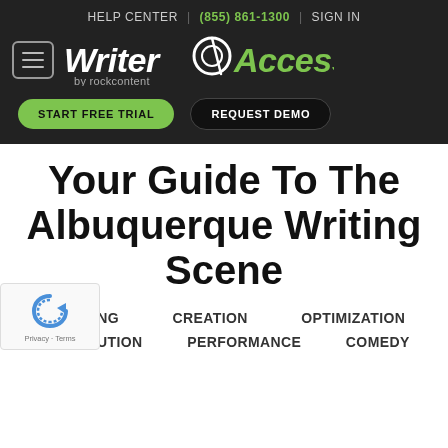HELP CENTER | (855) 861-1300 | SIGN IN
[Figure (logo): WriterAccess by rockcontent logo with hamburger menu icon]
START FREE TRIAL | REQUEST DEMO
Your Guide To The Albuquerque Writing Scene
PLANNING   CREATION   OPTIMIZATION
DISTRIBUTION   PERFORMANCE   COMEDY
[Figure (logo): Google reCAPTCHA badge with Privacy and Terms links]